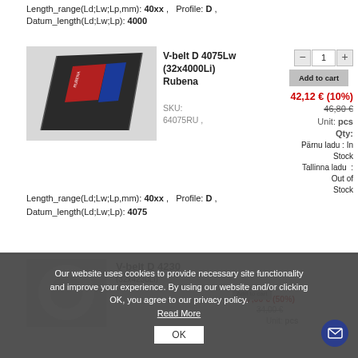Length_range(Ld;Lw;Lp,mm): 40xx ,   Profile: D ,  Datum_length(Ld;Lw;Lp): 4000
[Figure (photo): Photo of a black V-belt (D 4075Lw) with red and blue label markings, lying diagonally on a light background]
V-belt D 4075Lw (32x4000Li) Rubena
SKU: 64075RU ,
42,12 € (10%)
46,80 €
Unit: pcs
Qty:
Pärnu ladu : In Stock
Tallinna ladu  : Out of Stock
Length_range(Ld;Lw;Lp,mm): 40xx ,   Profile: D ,  Datum_length(Ld;Lw;Lp): 4075
Our website uses cookies to provide necessary site functionality and improve your experience. By using our website and/or clicking OK, you agree to our privacy policy.
Read More
OK